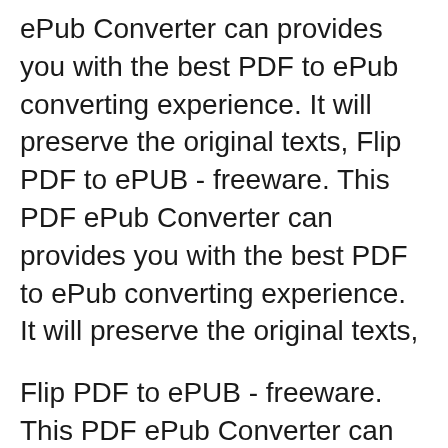ePub Converter can provides you with the best PDF to ePub converting experience. It will preserve the original texts, Flip PDF to ePUB - freeware. This PDF ePub Converter can provides you with the best PDF to ePub converting experience. It will preserve the original texts,
Flip PDF to ePUB - freeware. This PDF ePub Converter can provides you with the best PDF to ePub converting experience. It will preserve the original texts, 3 Best Free PDF to ePub/Mobi Converter вЂ" Formats for Kindle and Nook Readers. Free Online Converter / EPUB Converter: